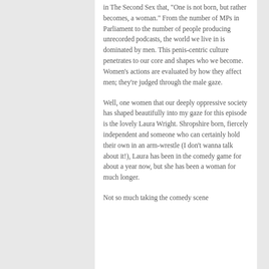in The Second Sex that, "One is not born, but rather becomes, a woman." From the number of MPs in Parliament to the number of people producing unrecorded podcasts, the world we live in is dominated by men. This penis-centric culture penetrates to our core and shapes who we become. Women's actions are evaluated by how they affect men; they're judged through the male gaze.
Well, one women that our deeply oppressive society has shaped beautifully into my gaze for this episode is the lovely Laura Wright. Shropshire born, fiercely independent and someone who can certainly hold their own in an arm-wrestle (I don't wanna talk about it!), Laura has been in the comedy game for about a year now, but she has been a woman for much longer.
Not so much taking the comedy scene